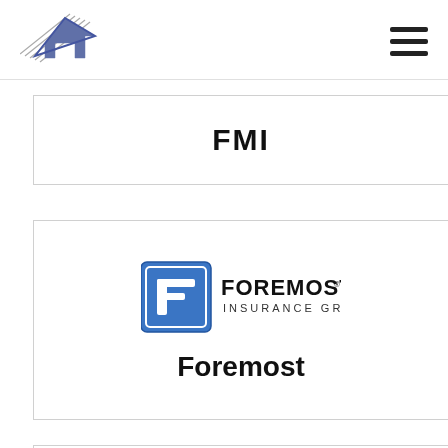[Figure (logo): Building/house logo with diagonal lines, blue and gray angular roof shape]
[Figure (other): Hamburger menu icon with three horizontal lines]
FMI
[Figure (logo): Foremost Insurance Group logo with stylized F in blue square and bold text FOREMOST INSURANCE GROUP]
Foremost
[Figure (logo): G&G logo partially visible, circular design with G and & and G in blue/gray]